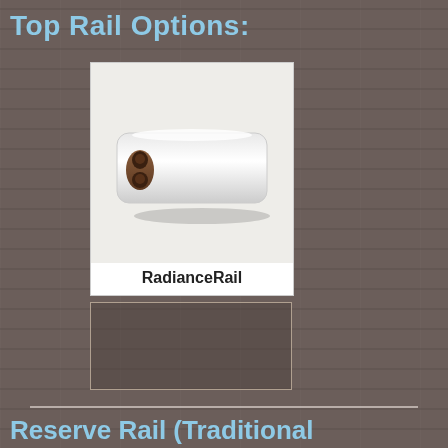Top Rail Options:
[Figure (photo): Photo of a RadianceRail top rail component showing a white composite rail with brown rubber insert cross-section]
RadianceRail
[Figure (photo): Second rail option image (broken/missing image)]
Reserve Rail (Traditional Rail)